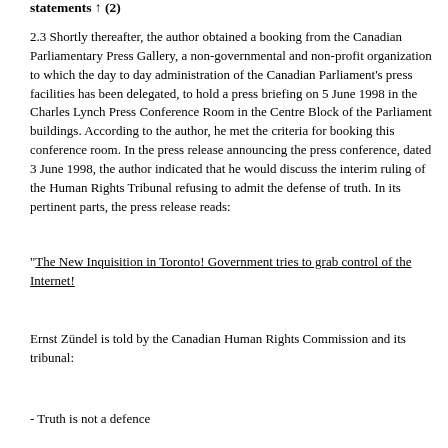statements ↑ (2)
2.3 Shortly thereafter, the author obtained a booking from the Canadian Parliamentary Press Gallery, a non-governmental and non-profit organization to which the day to day administration of the Canadian Parliament's press facilities has been delegated, to hold a press briefing on 5 June 1998 in the Charles Lynch Press Conference Room in the Centre Block of the Parliament buildings. According to the author, he met the criteria for booking this conference room. In the press release announcing the press conference, dated 3 June 1998, the author indicated that he would discuss the interim ruling of the Human Rights Tribunal refusing to admit the defense of truth. In its pertinent parts, the press release reads:
"The New Inquisition in Toronto! Government tries to grab control of the Internet!
Ernst Zündel is told by the Canadian Human Rights Commission and its tribunal:
- Truth is not a defence